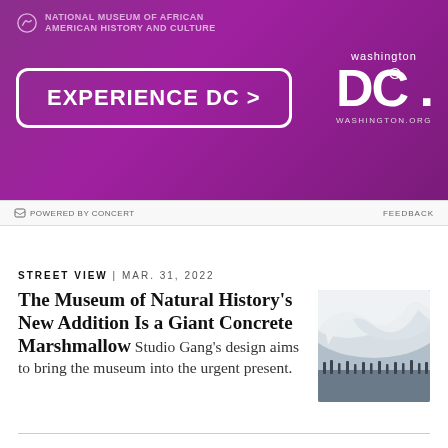[Figure (illustration): Purple advertisement banner for Washington DC tourism featuring 'EXPERIENCE DC >' button and Washington DC logo with the text 'National Museum of African American History and Culture']
POWERED BY CONCERT   FEEDBACK
STREET VIEW | MAR. 31, 2022
The Museum of Natural History's New Addition Is a Giant Concrete Marshmallow
Studio Gang's design aims to bring the museum into the urgent present.
[Figure (photo): Interior architectural photo showing a dramatic white curved concrete structure with people visible below]